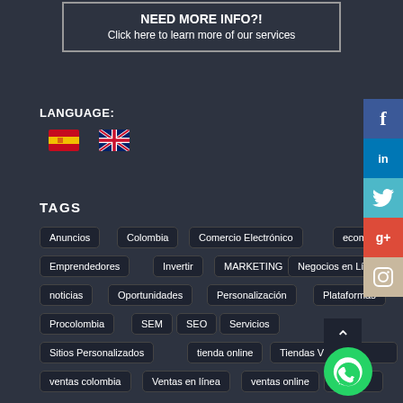[Figure (infographic): Banner with border: 'NEED MORE INFO?! Click here to learn more of our services']
LANGUAGE:
[Figure (illustration): Spanish flag icon and UK flag icon for language selection]
TAGS
Anuncios
Colombia
Comercio Electrónico
ecommerce
Emprendedores
Invertir
MARKETING
Negocios en Línea
noticias
Oportunidades
Personalización
Plataformas
Procolombia
SEM
SEO
Servicios
Sitios Personalizados
tienda online
Tiendas Virtuales
Com
ventas colombia
Ventas en línea
ventas online
[Figure (infographic): Social media sidebar icons: Facebook, LinkedIn, Twitter, Google+, Instagram]
[Figure (illustration): Scroll-to-top arrow button and WhatsApp floating button]